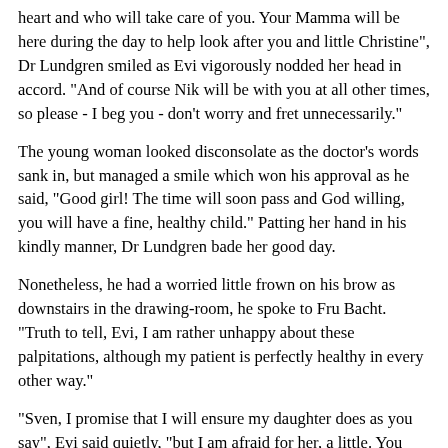heart and who will take care of you. Your Mamma will be here during the day to help look after you and little Christine", Dr Lundgren smiled as Evi vigorously nodded her head in accord. "And of course Nik will be with you at all other times, so please - I beg you - don't worry and fret unnecessarily."
The young woman looked disconsolate as the doctor's words sank in, but managed a smile which won his approval as he said, "Good girl! The time will soon pass and God willing, you will have a fine, healthy child." Patting her hand in his kindly manner, Dr Lundgren bade her good day.
Nonetheless, he had a worried little frown on his brow as downstairs in the drawing-room, he spoke to Fru Bacht. "Truth to tell, Evi, I am rather unhappy about these palpitations, although my patient is perfectly healthy in every other way."
"Sven, I promise that I will ensure my daughter does as you say", Evi said quietly, "but I am afraid for her, a little. You see, my husband had a heart condition which eventually... killed him," her expression was bleak as she stumbled on the last two words.
"No... no, you must not think that, my dear", the doctor protested. "Your husband worked far too hard and had many business worries. I remember you told me he was facing bankruptcy when he became so very poorly and his health took such a turn...